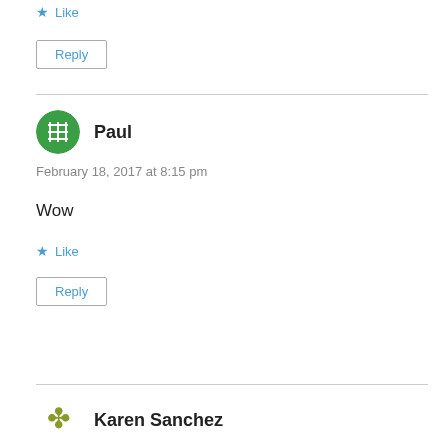★ Like
Reply
Paul
February 18, 2017 at 8:15 pm
Wow
★ Like
Reply
Karen Sanchez
February 18, 2017 at 8:42 pm